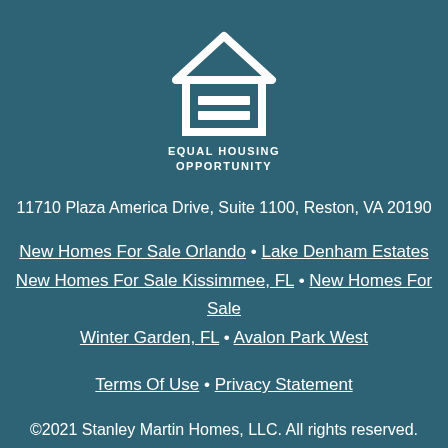[Figure (logo): Equal Housing Opportunity logo — white house outline with an equals sign inside, on a dark teal background, with text 'EQUAL HOUSING OPPORTUNITY' below the graphic]
11710 Plaza America Drive, Suite 1100, Reston, VA 20190
New Homes For Sale Orlando • Lake Denham Estates
New Homes For Sale Kissimmee, FL • New Homes For Sale Winter Garden, FL • Avalon Park West
Terms Of Use • Privacy Statement
©2021 Stanley Martin Homes, LLC. All rights reserved.